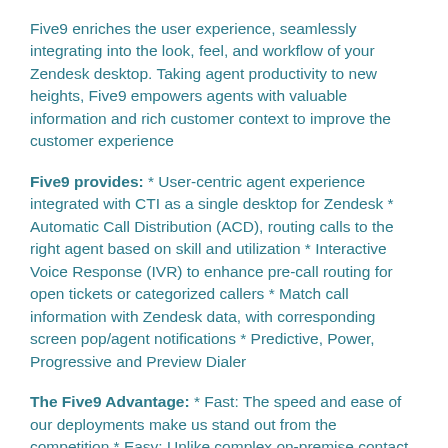Five9 enriches the user experience, seamlessly integrating into the look, feel, and workflow of your Zendesk desktop. Taking agent productivity to new heights, Five9 empowers agents with valuable information and rich customer context to improve the customer experience
Five9 provides: * User-centric agent experience integrated with CTI as a single desktop for Zendesk * Automatic Call Distribution (ACD), routing calls to the right agent based on skill and utilization * Interactive Voice Response (IVR) to enhance pre-call routing for open tickets or categorized callers * Match call information with Zendesk data, with corresponding screen pop/agent notifications * Predictive, Power, Progressive and Preview Dialer
The Five9 Advantage: * Fast: The speed and ease of our deployments make us stand out from the competition * Easy: Unlike complex on-premise contact centers, Five9 was created with the business user in mind * Affordable: